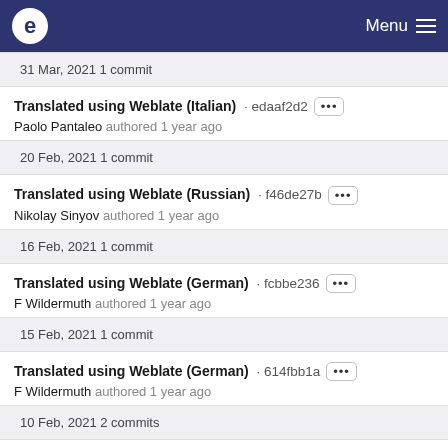e  Menu
31 Mar, 2021 1 commit
Translated using Weblate (Italian) · edaaf2d2
Paolo Pantaleo authored 1 year ago
20 Feb, 2021 1 commit
Translated using Weblate (Russian) · f46de27b
Nikolay Sinyov authored 1 year ago
16 Feb, 2021 1 commit
Translated using Weblate (German) · fcbbe236
F Wildermuth authored 1 year ago
15 Feb, 2021 1 commit
Translated using Weblate (German) · 614fbb1a
F Wildermuth authored 1 year ago
10 Feb, 2021 2 commits